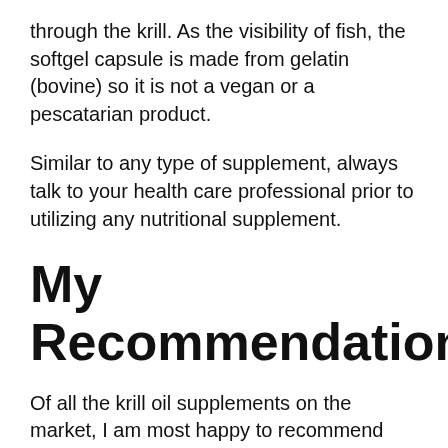through the krill. As the visibility of fish, the softgel capsule is made from gelatin (bovine) so it is not a vegan or a pescatarian product.
Similar to any type of supplement, always talk to your health care professional prior to utilizing any nutritional supplement.
My Recommendations.
Of all the krill oil supplements on the market, I am most happy to recommend VitaPost Krill Oil Plus. It has a dependable sustainability certification, it contains a strong amount of helpful phospholipids and also EPA/DHA, and the cost also the the reasonable kind of fish...